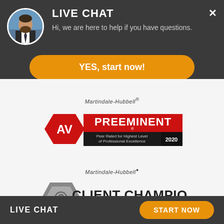LIVE CHAT
Hi, we are here to help if you have questions.
YES, start now!
[Figure (logo): Martindale-Hubbell AV Preeminent badge — red hexagon with AV, red banner reading PREEMINENT, text: Peer Rated for Highest Level of Professional Excellence, year 2020]
[Figure (logo): Martindale-Hubbell Client Champion Platinum 2020 badge — grey hexagon with CC logo, text CLIENT CHAMPION PLATINUM / 2020]
LIVE CHAT   START NOW